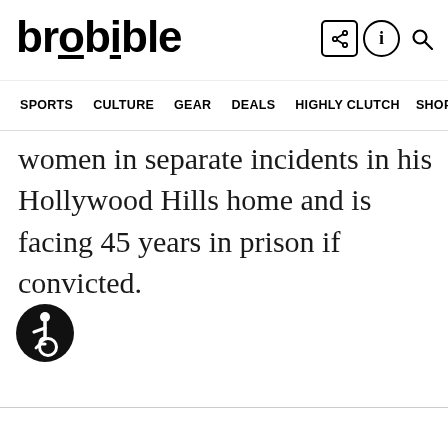brobible
SPORTS  CULTURE  GEAR  DEALS  HIGHLY CLUTCH  SHOP >
women in separate incidents in his Hollywood Hills home and is facing 45 years in prison if convicted.
[Figure (logo): Accessibility icon — circular black badge with wheelchair user symbol]